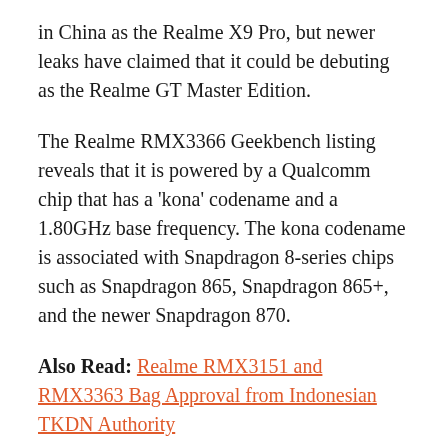in China as the Realme X9 Pro, but newer leaks have claimed that it could be debuting as the Realme GT Master Edition.
The Realme RMX3366 Geekbench listing reveals that it is powered by a Qualcomm chip that has a 'kona' codename and a 1.80GHz base frequency. The kona codename is associated with Snapdragon 8-series chips such as Snapdragon 865, Snapdragon 865+, and the newer Snapdragon 870.
Also Read: Realme RMX3151 and RMX3363 Bag Approval from Indonesian TKDN Authority
The TENAA listing of the phone had revealed that